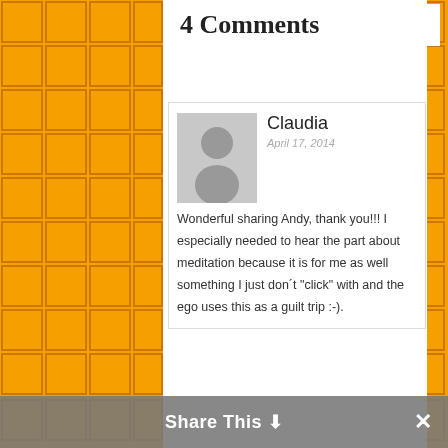4 Comments
[Figure (photo): Default avatar placeholder image - grey silhouette of a person on grey background]
Claudia
April 17, 2014
Wonderful sharing Andy, thank you!!! I especially needed to hear the part about meditation because it is for me as well something I just don´t "click" with and the ego uses this as a guilt trip :-).
Share This ˅